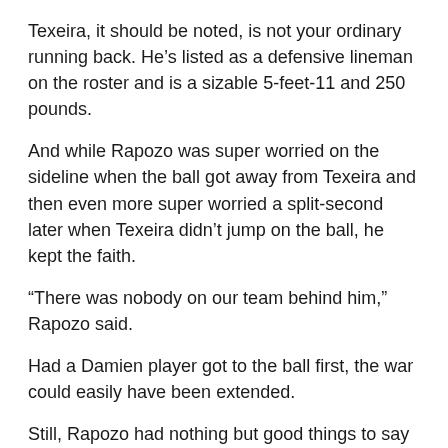Texeira, it should be noted, is not your ordinary running back. He's listed as a defensive lineman on the roster and is a sizable 5-feet-11 and 250 pounds.
And while Rapozo was super worried on the sideline when the ball got away from Texeira and then even more super worried a split-second later when Texeira didn't jump on the ball, he kept the faith.
“There was nobody on our team behind him,” Rapozo said.
Had a Damien player got to the ball first, the war could easily have been extended.
Still, Rapozo had nothing but good things to say about his “soldier.”
“He’s one of the most confident guys I’ve ever been around,” the coach said. “Sometimes you gotta argue with the guy to tell him he cannot do something.”